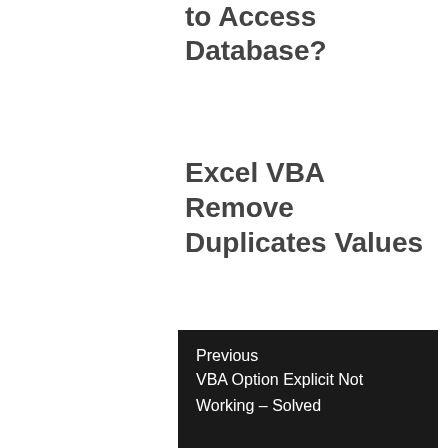How to Convert Excel to Access Database?
Excel VBA Remove Duplicates Values
Previous
VBA Option Explicit Not Working – Solved